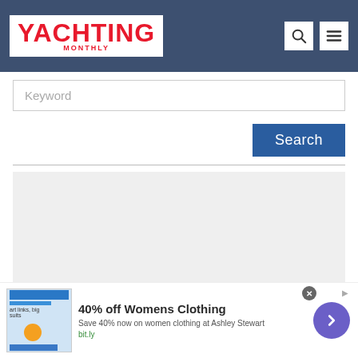YACHTING MONTHLY — navigation bar with search and menu icons
Keyword
Search
[Figure (screenshot): Gray empty content area placeholder below a horizontal divider line]
[Figure (infographic): Advertisement banner: 40% off Womens Clothing — Save 40% now on women clothing at Ashley Stewart — bit.ly — with close button and purple arrow button]